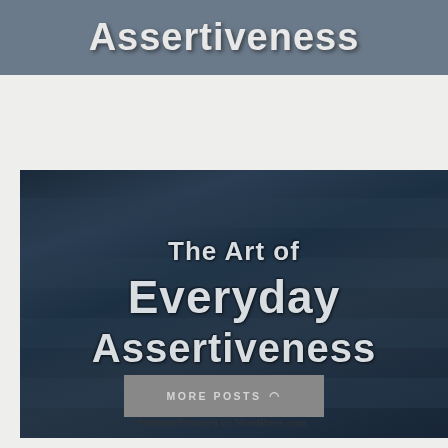[Figure (illustration): Partial top banner with text 'Assertiveness' in bold white/light gray letters on a dark gray-blue background]
[Figure (illustration): Dark blue stone/brick texture background image with bold white text reading 'The Art of Everyday Assertiveness']
MORE POSTS
Website Powered by WordPress.com.